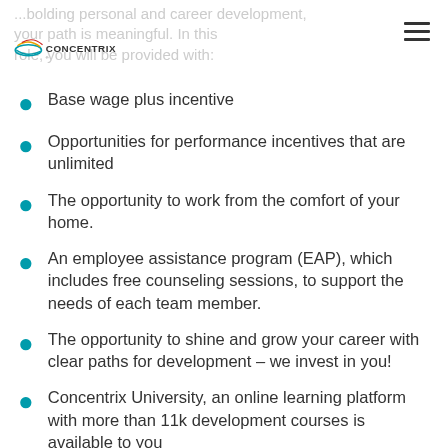Concentrix logo and navigation
...bolding personal and career development, your path is meaningful. In this role, you will be provided with:
Base wage plus incentive
Opportunities for performance incentives that are unlimited
The opportunity to work from the comfort of your home.
An employee assistance program (EAP), which includes free counseling sessions, to support the needs of each team member.
The opportunity to shine and grow your career with clear paths for development – we invest in you!
Concentrix University, an online learning platform with more than 11k development courses is available to you